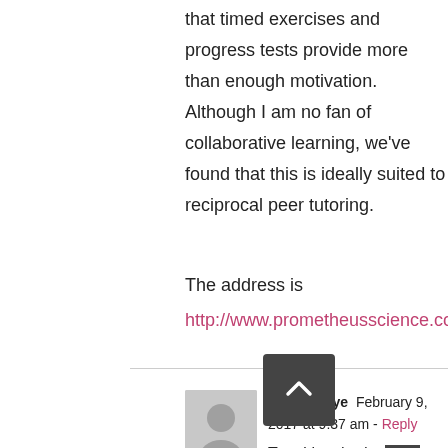that timed exercises and progress tests provide more than enough motivation. Although I am no fan of collaborative learning, we've found that this is ideally suited to reciprocal peer tutoring.
The address is
http://www.prometheusscience.co.uk/
Michael Pye  February 9, 2017 at 9:37 am - Reply
Tom I just had a peek at your website. Could I ask the